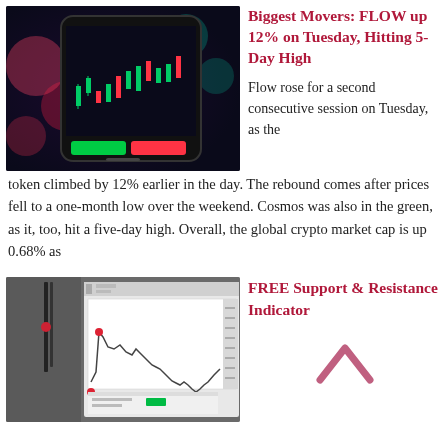[Figure (photo): Smartphone displaying a candlestick stock chart with red and green candles on a dark screen, blurred colorful trading chart background]
Biggest Movers: FLOW up 12% on Tuesday, Hitting 5-Day High
Flow rose for a second consecutive session on Tuesday, as the token climbed by 12% earlier in the day. The rebound comes after prices fell to a one-month low over the weekend. Cosmos was also in the green, as it, too, hit a five-day high. Overall, the global crypto market cap is up 0.68% as
[Figure (screenshot): Screenshot of a trading platform showing a price chart with support and resistance levels marked, with pen and notebook visible to the left]
FREE Support & Resistance Indicator